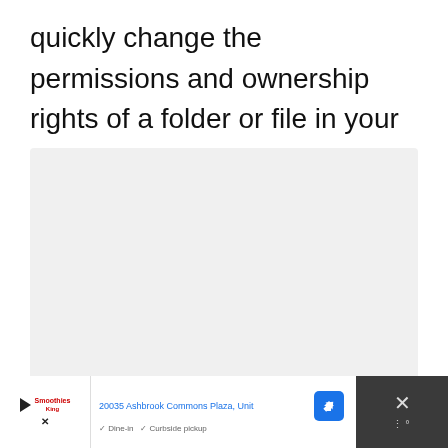quickly change the permissions and ownership rights of a folder or file in your computer:
[Figure (screenshot): A light gray placeholder image box with three dots at the bottom center indicating a loading or slideshow indicator]
[Figure (other): Advertisement banner showing Smoothie King location at 20035 Ashbrook Commons Plaza with navigation icon, dine-in and curbside pickup options, and a close button on the right]